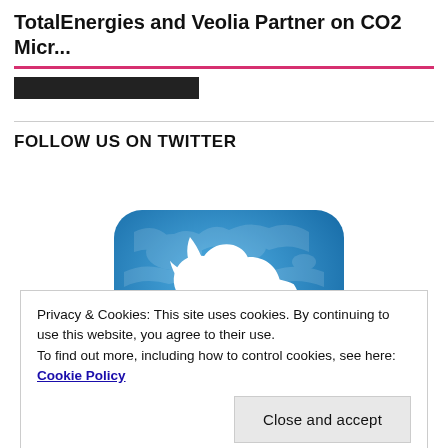TotalEnergies and Veolia Partner on CO2 Micr...
[Figure (illustration): 3D blue Twitter bird logo icon on a rounded rectangular blue tile, partially cropped at bottom]
FOLLOW US ON TWITTER
Privacy & Cookies: This site uses cookies. By continuing to use this website, you agree to their use.
To find out more, including how to control cookies, see here: Cookie Policy
Close and accept